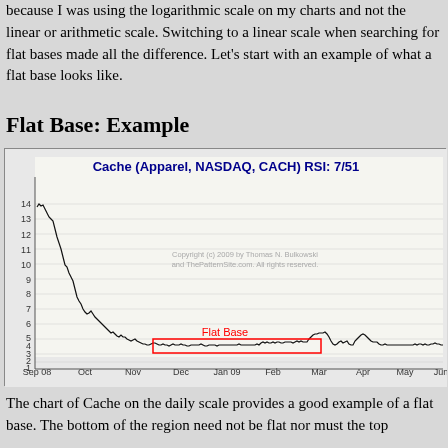because I was using the logarithmic scale on my charts and not the linear or arithmetic scale. Switching to a linear scale when searching for flat bases made all the difference. Let's start with an example of what a flat base looks like.
Flat Base: Example
[Figure (continuous-plot): Stock chart of Cache (Apparel, NASDAQ, CACH) RSI: 7/51, showing a flat base pattern from approximately December 2008 to March 2009, price range 1-14, x-axis from Sep 08 to Jun, with red horizontal lines marking the flat base region around price 2-2.5.]
The chart of Cache on the daily scale provides a good example of a flat base. The bottom of the region need not be flat nor must the top